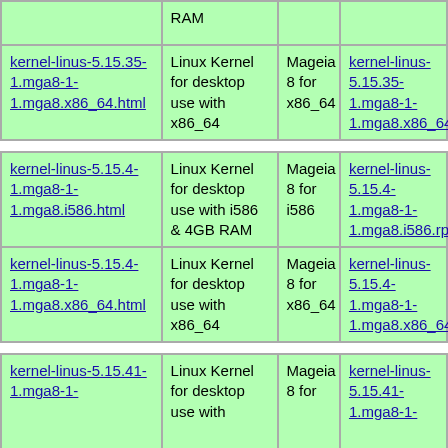|  | RAM |  |  |
| kernel-linus-5.15.35-1.mga8-1-1.mga8.x86_64.html | Linux Kernel for desktop use with x86_64 | Mageia 8 for x86_64 | kernel-linus-5.15.35-1.mga8-1-1.mga8.x86_64.rpm |
| kernel-linus-5.15.4-1.mga8-1-1.mga8.i586.html | Linux Kernel for desktop use with i586 & 4GB RAM | Mageia 8 for i586 | kernel-linus-5.15.4-1.mga8-1-1.mga8.i586.rpm |
| kernel-linus-5.15.4-1.mga8-1-1.mga8.x86_64.html | Linux Kernel for desktop use with x86_64 | Mageia 8 for x86_64 | kernel-linus-5.15.4-1.mga8-1-1.mga8.x86_64.rpm |
| kernel-linus-5.15.41-1.mga8-1- | Linux Kernel for desktop use with | Mageia 8 for | kernel-linus-5.15.41-1.mga8-1- |